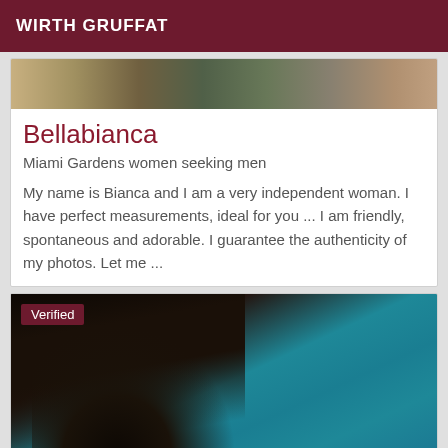WIRTH GRUFFAT
[Figure (photo): Top portion of a listing card showing a blurred crowd/outdoor photo]
Bellabianca
Miami Gardens women seeking men
My name is Bianca and I am a very independent woman. I have perfect measurements, ideal for you ... I am friendly, spontaneous and adorable. I guarantee the authenticity of my photos. Let me ...
[Figure (photo): Photo of a woman in a black lace top against a teal/blue background, with a 'Verified' badge overlay]